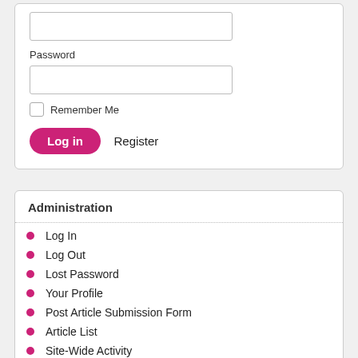Password
Remember Me
Log in   Register
Administration
Log In
Log Out
Lost Password
Your Profile
Post Article Submission Form
Article List
Site-Wide Activity
Members
Contact the webmaster
Tutorial how to post article?